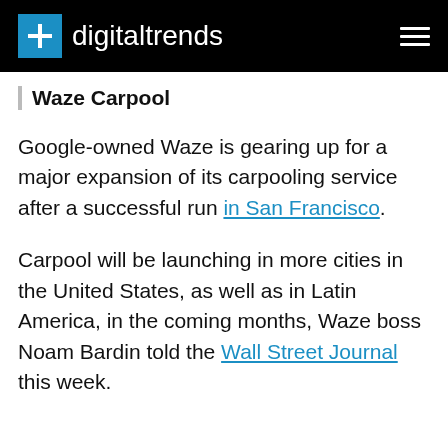digitaltrends
Waze Carpool
Google-owned Waze is gearing up for a major expansion of its carpooling service after a successful run in San Francisco.
Carpool will be launching in more cities in the United States, as well as in Latin America, in the coming months, Waze boss Noam Bardin told the Wall Street Journal this week.